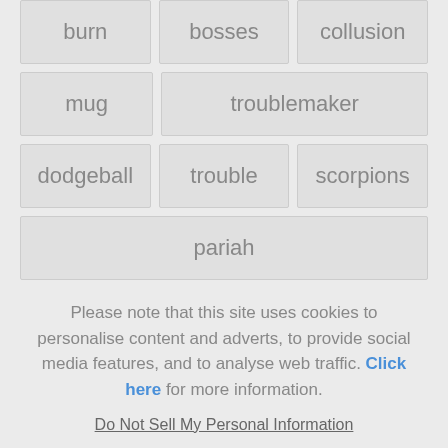| burn | bosses | collusion |
| mug | troublemaker |  |
| dodgeball | trouble | scorpions |
| pariah |  |  |
Please note that this site uses cookies to personalise content and adverts, to provide social media features, and to analyse web traffic. Click here for more information.
Do Not Sell My Personal Information